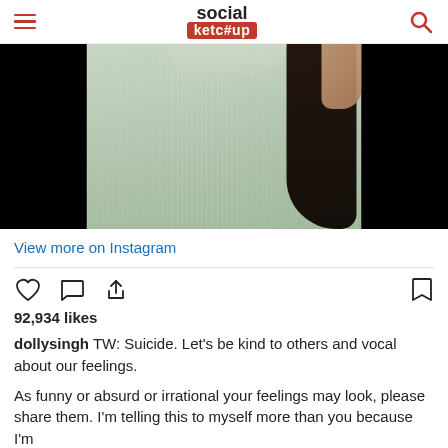social ketc#up
[Figure (photo): Cropped photo of a person wearing a light green/grey short-sleeve textured top with long dark hair, arm raised, against a dark/black background on sides]
View more on Instagram
[Figure (infographic): Instagram interaction icons: heart (like), comment bubble, share/upload arrow on left; bookmark on right]
92,934 likes
dollysingh TW: Suicide. Let's be kind to others and vocal about our feelings.
As funny or absurd or irrational your feelings may look, please share them. I'm telling this to myself more than you because I'm